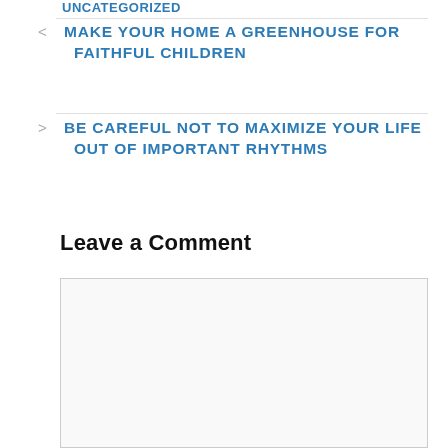UNCATEGORIZED
< MAKE YOUR HOME A GREENHOUSE FOR FAITHFUL CHILDREN
> BE CAREFUL NOT TO MAXIMIZE YOUR LIFE OUT OF IMPORTANT RHYTHMS
Leave a Comment
[Figure (other): Empty comment text area input box with light grey background and border]